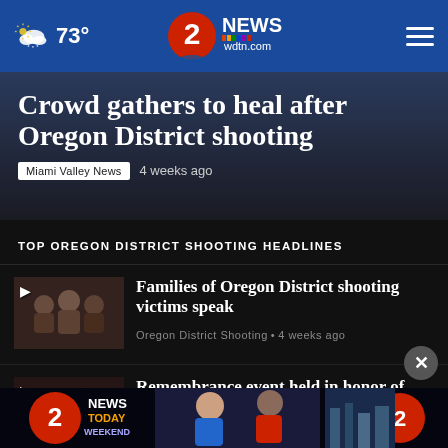73° | 2 NEWS wdtn.com
Crowd gathers to heal after Oregon District shooting
Miami Valley News   4 weeks ago
TOP OREGON DISTRICT SHOOTING HEADLINES
Families of Oregon District shooting victims speak | Oregon District Shooting • 4 weeks ago
Remembrance event held in honor of shooting victims ... | Oregon District Shooting • 4 weeks ago
[Figure (screenshot): 2 NEWS TODAY WEEKEND advertisement banner at bottom of screen]
ict
shooting vicuus…